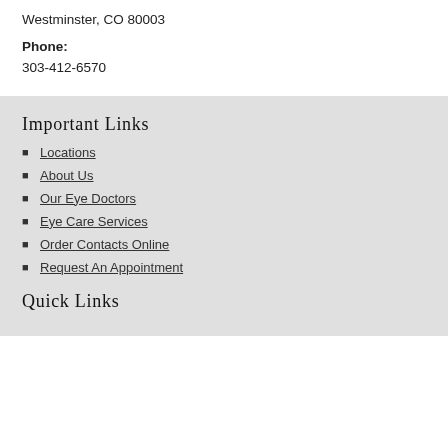Westminster, CO 80003
Phone:
303-412-6570
Important Links
Locations
About Us
Our Eye Doctors
Eye Care Services
Order Contacts Online
Request An Appointment
Quick Links